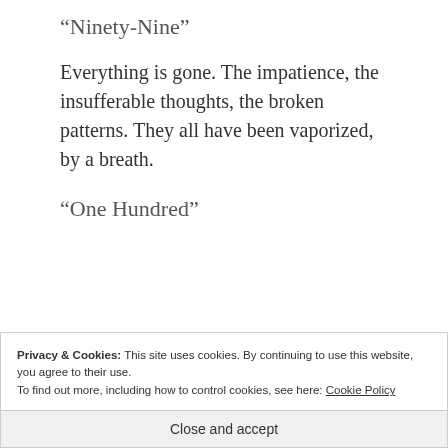“Ninety-Nine”
Everything is gone. The impatience, the insufferable thoughts, the broken patterns. They all have been vaporized, by a breath.
“One Hundred”
Privacy & Cookies: This site uses cookies. By continuing to use this website, you agree to their use.
To find out more, including how to control cookies, see here: Cookie Policy
Close and accept